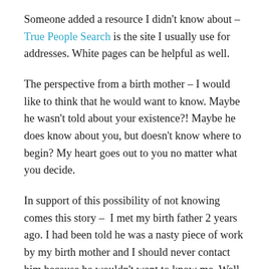Someone added a resource I didn't know about – True People Search is the site I usually use for addresses. White pages can be helpful as well.
The perspective from a birth mother – I would like to think that he would want to know. Maybe he wasn't told about your existence?! Maybe he does know about you, but doesn't know where to begin? My heart goes out to you no matter what you decide.
In support of this possibility of not knowing comes this story – I met my birth father 2 years ago. I had been told he was a nasty piece of work by my birth mother and I should never contact him because he wouldn't want to know me. Well turns out she never told him. I had someone on one of the lost or search for family